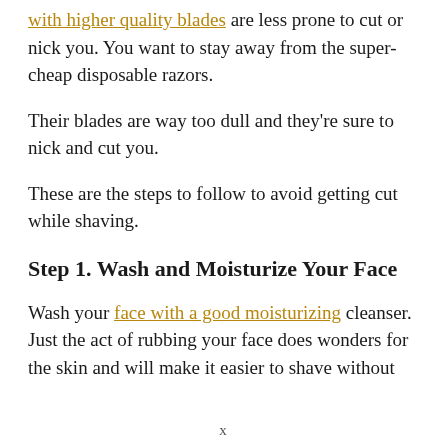with higher quality blades are less prone to cut or nick you. You want to stay away from the super-cheap disposable razors.
Their blades are way too dull and they're sure to nick and cut you.
These are the steps to follow to avoid getting cut while shaving.
Step 1. Wash and Moisturize Your Face
Wash your face with a good moisturizing cleanser. Just the act of rubbing your face does wonders for the skin and will make it easier to shave without
x